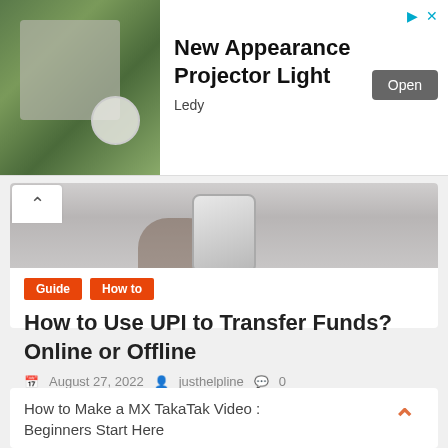[Figure (screenshot): Advertisement banner for 'New Appearance Projector Light' by Ledy with an outdoor projector image and an Open button]
[Figure (photo): Hero image showing hands holding a smartphone, partially visible at top of article card]
Guide
How to
How to Use UPI to Transfer Funds? Online or Offline
August 27, 2022   justhelpline   0
How To Make Online, Offline UPI Payments According to a report, there are more than 100 million UPI users in
How to Make a MX TakaTak Video : Beginners Start Here